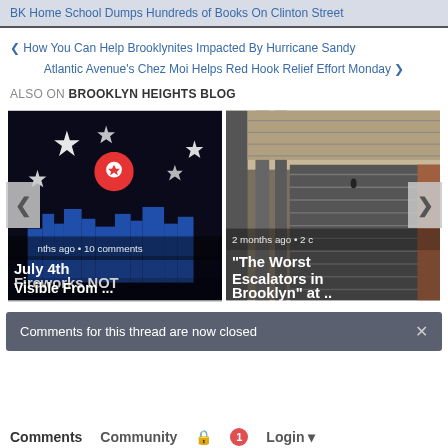BK Home School Dumps Hundreds of Books On Clinton Street
❮ How You Can Help Brooklynites Impacted By Hurricane Sandy
Atlantic Avenue's Chez Moi Helps Red Hook Relief Effort Monday ❯
ALSO ON BROOKLYN HEIGHTS BLOG
[Figure (photo): Card 1: July 4th Fireworks event image with city skyline silhouette and location pin, with text 'July 4th Fireworks NOT Visible From ...' and meta '... months ago • 10 comments']
[Figure (photo): Card 2: Escalator photo in Brooklyn subway/transit station with text '"The Worst Escalators in Brooklyn" at ..' and meta '2 months ago • 2 c...']
Comments for this thread are now closed
Comments  Community  🔒  1  Login ▾